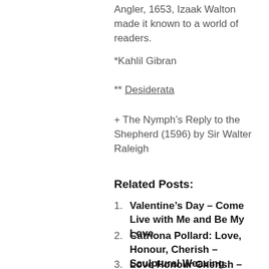Angler, 1653, Izaak Walton made it known to a world of readers.
*Kahlil Gibran
** Desiderata
+ The Nymph’s Reply to the Shepherd (1596) by Sir Walter Raleigh
Related Posts:
1. Valentine’s Day – Come Live with Me and Be My Love
2. Catriona Pollard: Love, Honour, Cherish – Sculptural Weaving
3. Love Honour Cherish – Catriona Pollard Basket